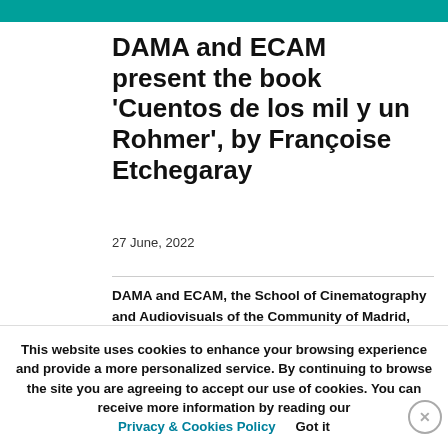DAMA and ECAM present the book ‘Cuentos de los mil y un Rohmer’, by Françoise Etchegaray
27 June, 2022
DAMA and ECAM, the School of Cinematography and Audiovisuals of the Community of Madrid, together with Caimán Cuadernos de Cine, have presented Cuentos de los mil y un Rohmer (Tales of a Thousand and One Rohmer), by Francoise...
This website uses cookies to enhance your browsing experience and provide a more personalized service. By continuing to browse the site you are agreeing to accept our use of cookies. You can receive more information by reading our Privacy & Cookies Policy  Got it